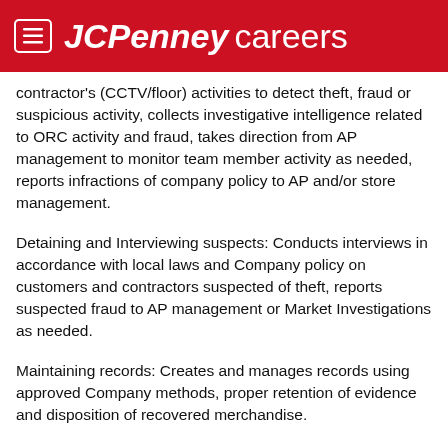JCPenney careers
contractor's (CCTV/floor) activities to detect theft, fraud or suspicious activity, collects investigative intelligence related to ORC activity and fraud, takes direction from AP management to monitor team member activity as needed, reports infractions of company policy to AP and/or store management.
Detaining and Interviewing suspects: Conducts interviews in accordance with local laws and Company policy on customers and contractors suspected of theft, reports suspected fraud to AP management or Market Investigations as needed.
Maintaining records: Creates and manages records using approved Company methods, proper retention of evidence and disposition of recovered merchandise.
Participating in Court Hearings: Attends hearings, updates appropriated files and maintains relationships with local law enforcement.